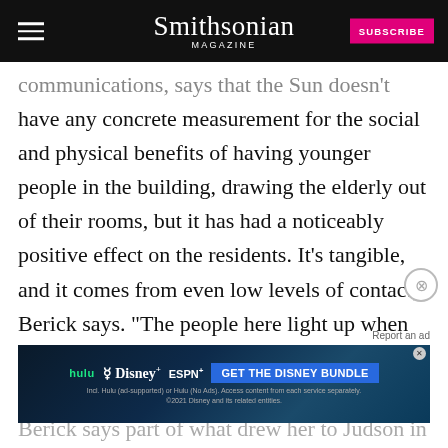Smithsonian Magazine
communications, says that the Sun doesn't have any concrete measurement for the social and physical benefits of having younger people in the building, drawing the elderly out of their rooms, but it has had a noticeably positive effect on the residents. It’s tangible, and it comes from even low levels of contact, Berick says. “The people here light up when the young people walk through the lobby," she says. "It’s really quite lovely." The program has also spurred interest
[Figure (other): Advertisement banner for Disney Bundle (Hulu, Disney+, ESPN+) with blue background and GET THE DISNEY BUNDLE call to action]
Berick says part of what drew her to Judson in